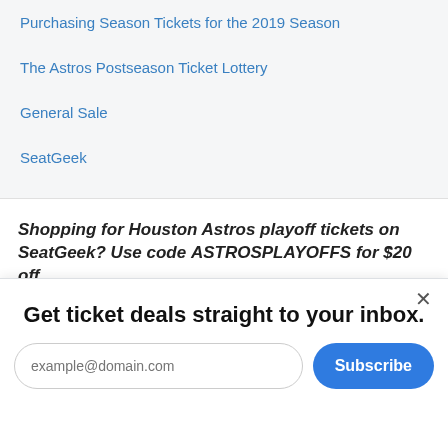Purchasing Season Tickets for the 2019 Season
The Astros Postseason Ticket Lottery
General Sale
SeatGeek
Shopping for Houston Astros playoff tickets on SeatGeek? Use code ASTROSPLAYOFFS for $20 off
Get ticket deals straight to your inbox.
example@domain.com
Subscribe